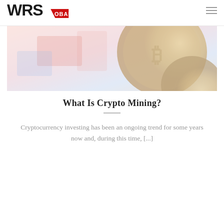WRS GLOBAL
[Figure (photo): Hero banner image showing cryptocurrency coins (Bitcoin) with a blurred colorful background, slightly washed out / light overlay]
What Is Crypto Mining?
Cryptocurrency investing has been an ongoing trend for some years now and, during this time, [...]